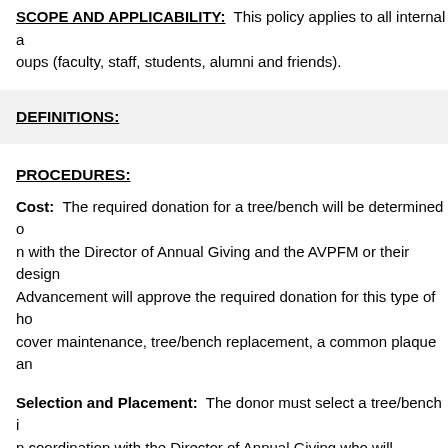SCOPE AND APPLICABILITY: This policy applies to all internal groups (faculty, staff, students, alumni and friends).
DEFINITIONS:
PROCEDURES:
Cost: The required donation for a tree/bench will be determined on with the Director of Annual Giving and the AVPFM or their designee. Advancement will approve the required donation for this type of honor to cover maintenance, tree/bench replacement, a common plaque and…
Selection and Placement: The donor must select a tree/bench in coordination with the Director of Annual Giving who will coordinate in determining placement of the tree/bench.
RELATED POLICIES AND FORMS:
APPENDIX: